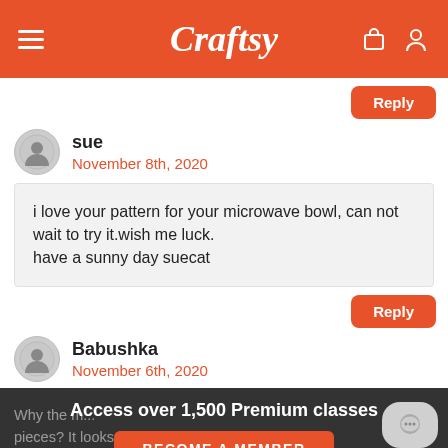Craftsy
Reply
sue
November 8th, 2020
i love your pattern for your microwave bowl, can not wait to try it.wish me luck.
have a sunny day suecat
Reply
Babushka
November 6th, 2020
Access over 1,500 Premium classes
BECOME A MEMBER
Why the m... pieces? It looks like in picture #6 the 12" of e... has been trimmed... ons about how or when to do